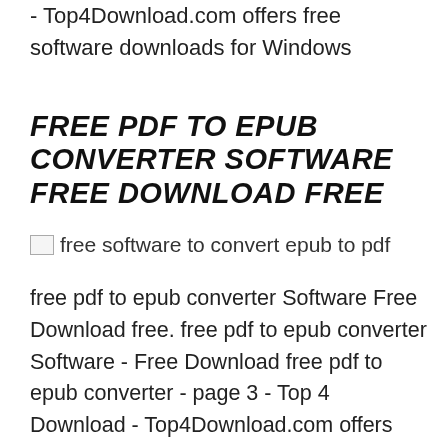- Top4Download.com offers free software downloads for Windows
FREE PDF TO EPUB CONVERTER SOFTWARE FREE DOWNLOAD FREE
[Figure (other): Broken image placeholder with alt text: free software to convert epub to pdf]
free pdf to epub converter Software Free Download free. free pdf to epub converter Software - Free Download free pdf to epub converter - page 3 - Top 4 Download - Top4Download.com offers free software downloads for Windows, free pdf to epub converter Software - Free Download free pdf to epub converter - page 3 - Top 4 Download -